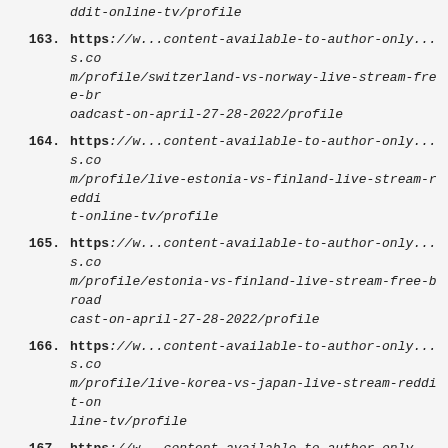ddit-online-tv/profile
163. https://w...content-available-to-author-only...s.com/profile/switzerland-vs-norway-live-stream-free-broadcast-on-april-27-28-2022/profile
164. https://w...content-available-to-author-only...s.com/profile/live-estonia-vs-finland-live-stream-reddit-online-tv/profile
165. https://w...content-available-to-author-only...s.com/profile/estonia-vs-finland-live-stream-free-broadcast-on-april-27-28-2022/profile
166. https://w...content-available-to-author-only...s.com/profile/live-korea-vs-japan-live-stream-reddit-online-tv/profile
167. https://w...content-available-to-author-only...s.com/profile/korea-vs-japan-live-stream-free-broadcast-on-april-27-28-2022/profile
168. https://w...content-available-to-author-only...s.com/profile/live-england-vs-australia-live-stream-reddit-online-tv/profile
169. https://w...content-available-to-author-only...s.com/profile/england-vs-australia-live-stream-free-broadcast-on-april-27-28-2022/profile
170. https://w...content-available-to-author-only...s.co